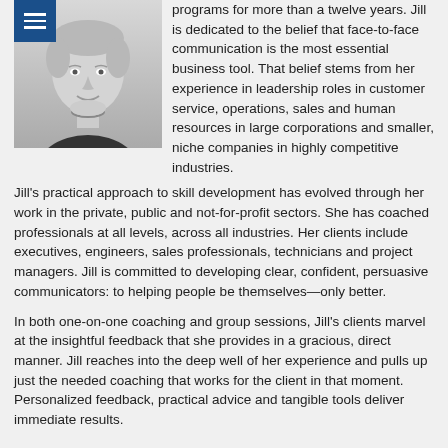[Figure (photo): Black and white headshot photo of a woman with short light hair, wearing a dark top and necklace, smiling. A blue menu icon with three horizontal lines appears in the top-left corner of the photo area.]
programs for more than a twelve years. Jill is dedicated to the belief that face-to-face communication is the most essential business tool. That belief stems from her experience in leadership roles in customer service, operations, sales and human resources in large corporations and smaller, niche companies in highly competitive industries.
Jill's practical approach to skill development has evolved through her work in the private, public and not-for-profit sectors. She has coached professionals at all levels, across all industries. Her clients include executives, engineers, sales professionals, technicians and project managers. Jill is committed to developing clear, confident, persuasive communicators: to helping people be themselves—only better.
In both one-on-one coaching and group sessions, Jill's clients marvel at the insightful feedback that she provides in a gracious, direct manner. Jill reaches into the deep well of her experience and pulls up just the needed coaching that works for the client in that moment. Personalized feedback, practical advice and tangible tools deliver immediate results.